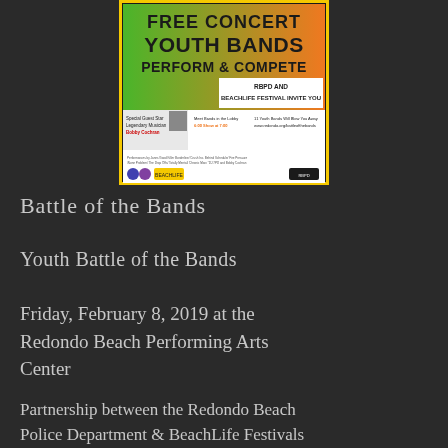[Figure (illustration): Event flyer poster for 'Free Concert Youth Bands Perform & Compete' — RBPD and BeachLife Festival Invite You. Features bold yellow and green design with text about Special Guest Star Legendary Musician Bobby Cochran, 11 Youth Bands, and website www.redondo.org/battleofthebands.]
Battle of the Bands
Youth Battle of the Bands
Friday, February 8, 2019 at the Redondo Beach Performing Arts Center
Partnership between the Redondo Beach Police Department & BeachLife Festivals